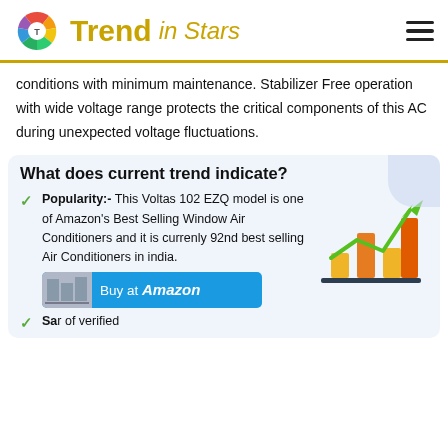Trend in Stars
conditions with minimum maintenance. Stabilizer Free operation with wide voltage range protects the critical components of this AC during unexpected voltage fluctuations.
What does current trend indicate?
Popularity:- This Voltas 102 EZQ model is one of Amazon's Best Selling Window Air Conditioners and it is currenly 92nd best selling Air Conditioners in india.
[Figure (infographic): Bar chart illustration with rising green arrow showing upward trend, with gold, orange, and dark red bars on a dark blue baseline]
[Figure (infographic): Buy at Amazon banner with product thumbnail and blue background]
Sa... r of verified